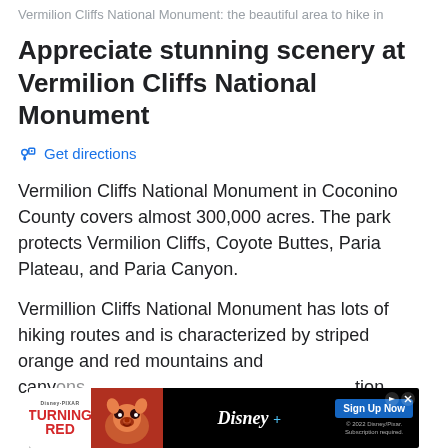Vermilion Cliffs National Monument: the beautiful area to hike in
Appreciate stunning scenery at Vermilion Cliffs National Monument
Get directions
Vermilion Cliffs National Monument in Coconino County covers almost 300,000 acres. The park protects Vermilion Cliffs, Coyote Buttes, Paria Plateau, and Paria Canyon.
Vermillion Cliffs National Monument has lots of hiking routes and is characterized by striped orange and red mountains and canyons... tion
[Figure (screenshot): Disney/Pixar Turning Red advertisement banner with red panda character, Disney+ logo, and Sign Up Now button]